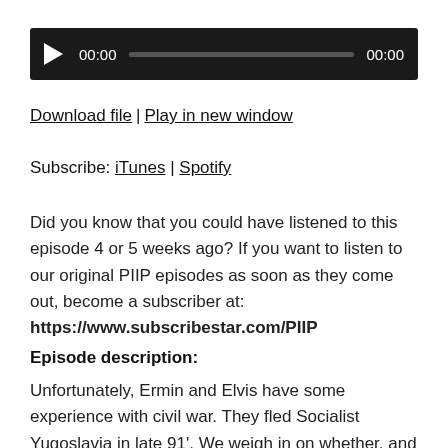[Figure (other): Audio player with play button, 00:00 timestamp, progress bar, and 00:00 end timestamp on a dark background]
Download file | Play in new window
Subscribe: iTunes | Spotify
Did you know that you could have listened to this episode 4 or 5 weeks ago? If you want to listen to our original PIIP episodes as soon as they come out, become a subscriber at: https://www.subscribestar.com/PIIP
Episode description:
Unfortunately, Ermin and Elvis have some experience with civil war. They fled Socialist Yugoslavia in late 91'. We weigh in on whether, and to what extent, the